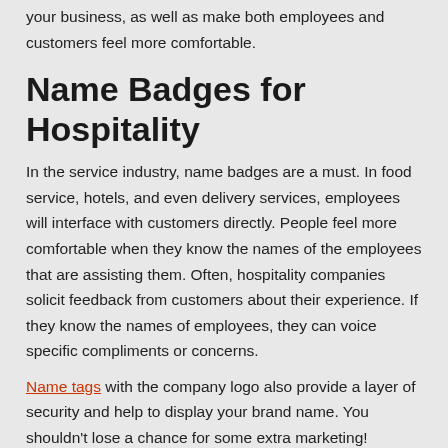your business, as well as make both employees and customers feel more comfortable.
Name Badges for Hospitality
In the service industry, name badges are a must. In food service, hotels, and even delivery services, employees will interface with customers directly. People feel more comfortable when they know the names of the employees that are assisting them. Often, hospitality companies solicit feedback from customers about their experience. If they know the names of employees, they can voice specific compliments or concerns.
Name tags with the company logo also provide a layer of security and help to display your brand name. You shouldn't lose a chance for some extra marketing!
Health and Well...